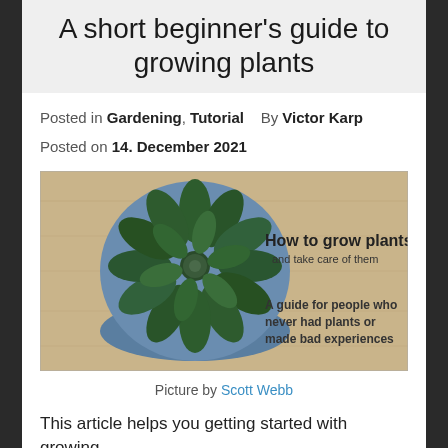A short beginner's guide to growing plants
Posted in Gardening, Tutorial    By Victor Karp
Posted on 14. December 2021
[Figure (photo): Top-down view of a succulent plant in a blue pot on a light wood surface. Text overlay reads: 'How to grow plants and take care of them' and 'A guide for people who never had plants or made bad experiences']
Picture by Scott Webb
This article helps you getting started with growing